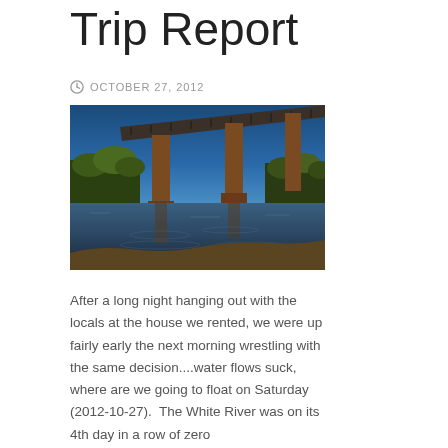Trip Report
OCTOBER 27, 2012
[Figure (photo): A railroad trestle bridge over a calm river, photographed from below and to the side. The bridge has tall rust-colored metal/concrete pillars. The sky is deep blue, and autumn trees line the riverbank. The scene is reflected in the calm water below.]
After a long night hanging out with the locals at the house we rented, we were up fairly early the next morning wrestling with the same decision....water flows suck, where are we going to float on Saturday (2012-10-27).  The White River was on its 4th day in a row of zero